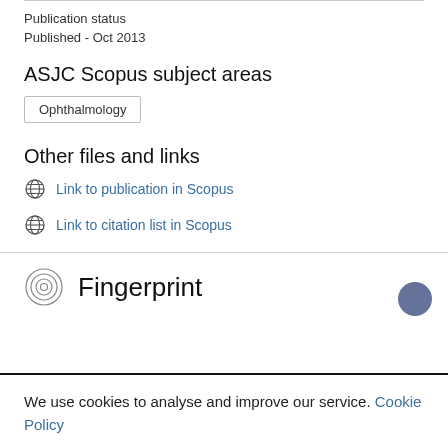Publication status
Published - Oct 2013
ASJC Scopus subject areas
Ophthalmology
Other files and links
Link to publication in Scopus
Link to citation list in Scopus
Fingerprint
We use cookies to analyse and improve our service. Cookie Policy